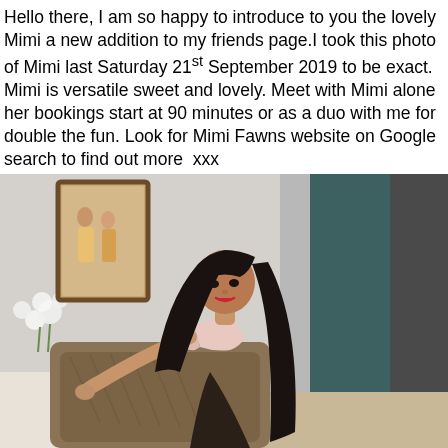Hello there, I am so happy to introduce to you the lovely Mimi a new addition to my friends page.I took this photo of Mimi last Saturday 21st September 2019 to be exact. Mimi is versatile sweet and lovely. Meet with Mimi alone her bookings start at 90 minutes or as a duo with me for double the fun. Look for Mimi Fawns website on Google search to find out more  xxx
[Figure (photo): A young woman with long dark hair and bangs, wearing a light pink/white bralette top, posing in a room with a painting on the wall to the left, white flowers, a fur/textured blanket, and a dark teal wall in the background.]